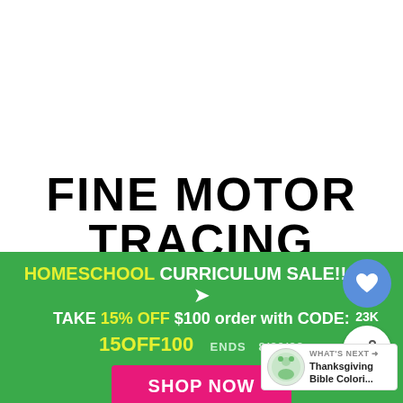[Figure (illustration): White background top area of product preview page for Fine Motor Tracing educational resource]
FINE MOTOR TRACING
[Figure (illustration): Four preview cards showing worksheet thumbnails with tracing activities]
HOMESCHOOL CURRICULUM SALE!! 🖊️
TAKE 15% OFF $100 order with CODE:
15OFF100   ENDS  8/30/22
SHOP NOW
[Figure (illustration): Heart/like button showing 23K likes and share button]
[Figure (illustration): What's Next thumbnail: Thanksgiving Bible Coloring...]